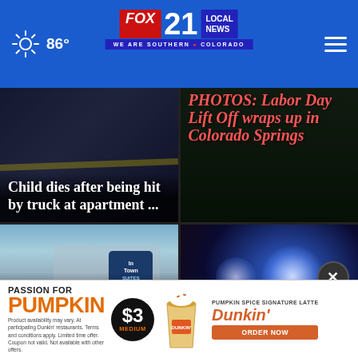86° FOX 21 LOCAL NEWS — WE ARE SOUTHERN COLORADO
[Figure (photo): News card: Child dies after being hit by truck at apartment — police scene photo]
[Figure (photo): News card: PHOTOS: Labor Day Lift Off wraps up in Colorado Springs — outdoor event]
[Figure (photo): News card: Fire at Colorado Springs hotel under investigation — In Town Suites hotel exterior with emergency vehicle]
[Figure (photo): News card: Man attacks officer... hospital — blurred police lights at night]
[Figure (photo): Advertisement: Passion for Pumpkin — Dunkin' $3 Medium Pumpkin Spice Signature Latte — Order Now]